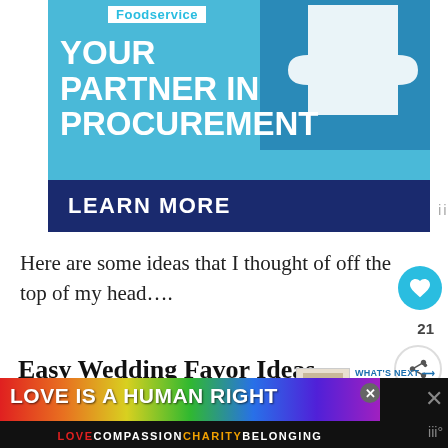[Figure (photo): Foodservice advertisement: 'YOUR PARTNER IN PROCUREMENT' with puzzle pieces on blue background and 'LEARN MORE' dark blue button]
Here are some ideas that I thought of off the top of my head….
Easy Wedding Favor Ideas
[Figure (photo): WHAT'S NEXT thumbnail: Quick And Easy DIY...]
Herbs or flowers in a planter
[Figure (photo): LOVE IS A HUMAN RIGHT banner with rainbow colors; LOVE COMPASSION CHARITY BELONGING]